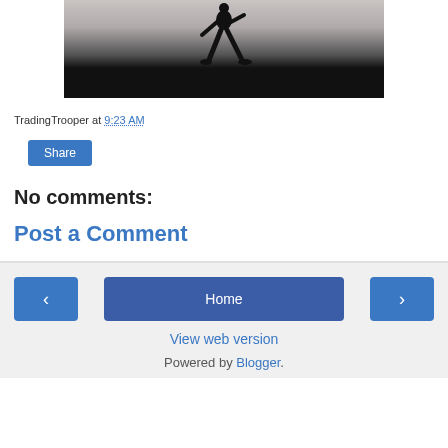[Figure (photo): Partial image of a person silhouetted against a gray background, showing lower body and legs in a wide stance, over a black bar at bottom]
TradingTrooper at 9:23 AM
Share
No comments:
Post a Comment
‹  Home  ›  View web version  Powered by Blogger.